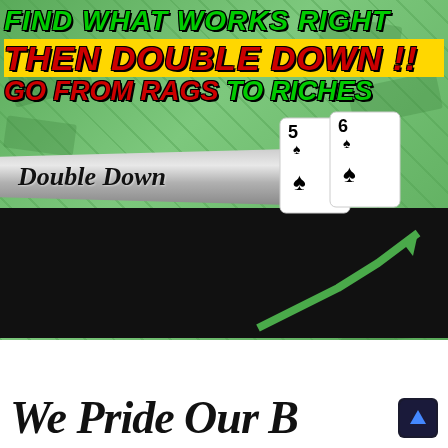[Figure (illustration): Promotional banner image with money background. Top text: 'FIND WHAT WORKS RIGHT THEN DOUBLE DOWN!! GO FROM RAGS TO RICHES'. Middle section shows a 'Double Down' ribbon with playing cards (5 and 6 of spades). Lower black section shows 'Rags to Riches' logo with cartoon characters of a poor man with 401k sign and a rich businessman, plus a rising arrow chart with money.]
We Pride Our B